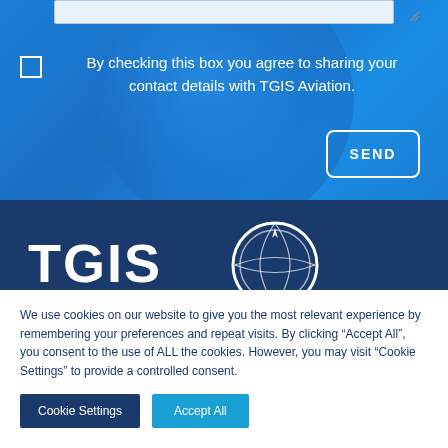[Figure (screenshot): Textarea input bar at top of blue contact form section]
By checking this box you agree to sharing your contact details with TGIS Aviation.
SEND
[Figure (logo): TGIS logo white text on dark navy background with circular emblem]
We use cookies on our website to give you the most relevant experience by remembering your preferences and repeat visits. By clicking “Accept All”, you consent to the use of ALL the cookies. However, you may visit “Cookie Settings” to provide a controlled consent.
Cookie Settings
Accept All